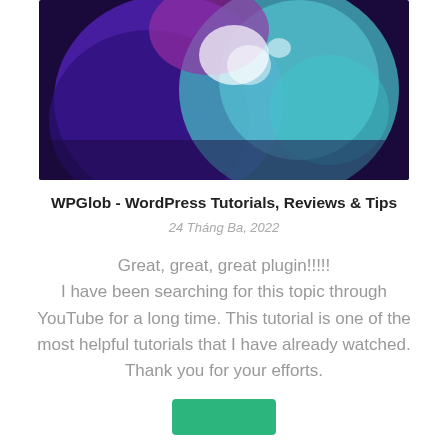[Figure (illustration): Colorful glowing globe-like illustration with purple, blue, teal, and white tones on a dark purple/navy background, partially cropped at top.]
WPGlob - WordPress Tutorials, Reviews & Tips
24 Tháng Ba, 2022
Great, great, great plugin!!!!!
I have been searching for this topic through YouTube for a long time. This tutorial is one of the most helpful tutorials that I have already watched. Thank you for your efforts.